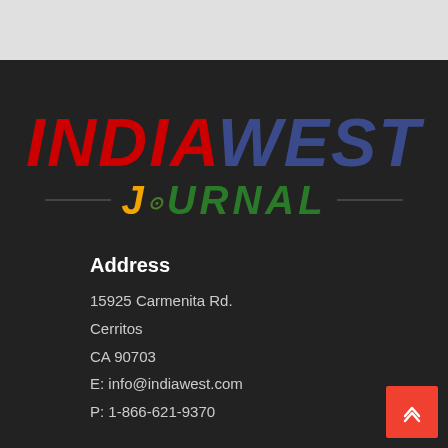[Figure (logo): India West Journal logo with INDIA in red italic, WEST in dark blue italic, and JOURNAL in green/gold italic with a dot motif, on a dark background]
Address
15925 Carmenita Rd.
Cerritos
CA 90703
E: info@indiawest.com
P: 1-866-621-9370